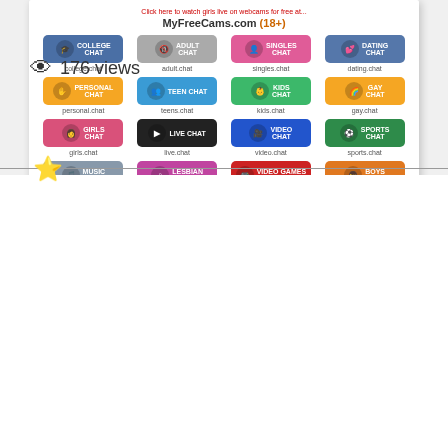[Figure (screenshot): A chat website directory showing MyFreeCams.com (18+) with a grid of 16 colorful chat category buttons including college.chat, adult.chat, singles.chat, dating.chat, personal.chat, teens.chat, kids.chat, gay.chat, girls.chat, live.chat, video.chat, sports.chat, music.chat, lesbians.chat, video-games.chat, boys.chat]
176 views
[Figure (illustration): A gold/yellow star icon]